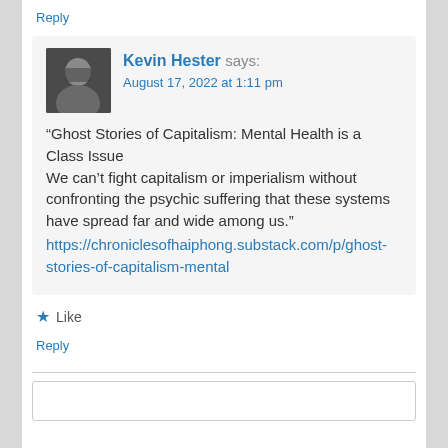Reply
Kevin Hester says: August 17, 2022 at 1:11 pm
“Ghost Stories of Capitalism: Mental Health is a Class Issue
We can’t fight capitalism or imperialism without confronting the psychic suffering that these systems have spread far and wide among us.”
https://chroniclesofhaiphong.substack.com/p/ghost-stories-of-capitalism-mental
★ Like
Reply